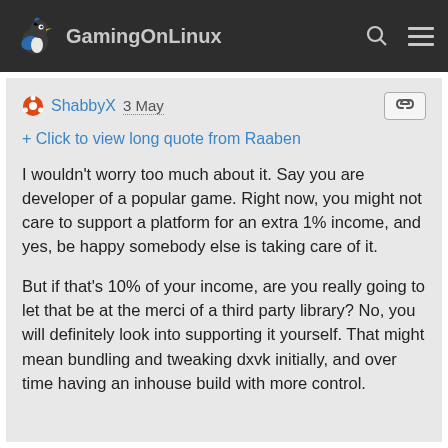GamingOnLinux
ShabbyX 3 May
+ Click to view long quote from Raaben
I wouldn't worry too much about it. Say you are developer of a popular game. Right now, you might not care to support a platform for an extra 1% income, and yes, be happy somebody else is taking care of it.
But if that's 10% of your income, are you really going to let that be at the merci of a third party library? No, you will definitely look into supporting it yourself. That might mean bundling and tweaking dxvk initially, and over time having an inhouse build with more control.